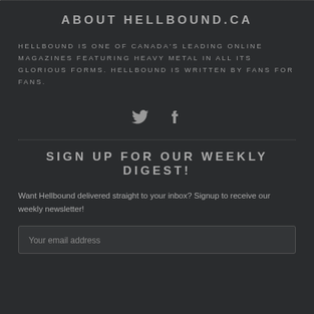ABOUT HELLBOUND.CA
HELLBOUND IS ONE OF CANADA'S LEADING ONLINE MAGAZINES FEATURING HEAVY METAL IN ALL ITS GLORIOUS FORMS. HELLBOUND IS WRITTEN BY FANS FOR FANS.
[Figure (illustration): Twitter and Facebook social media icons in gray]
SIGN UP FOR OUR WEEKLY DIGEST!
Want Hellbound delivered straight to your inbox? Signup to receive our weekly newsletter!
Your email address